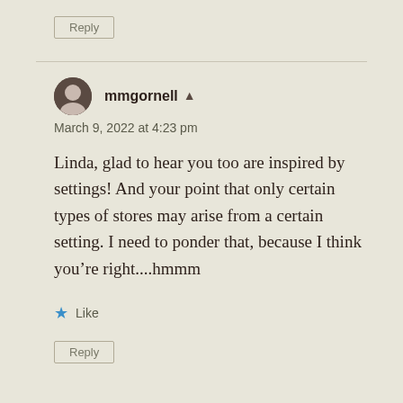Reply
mmgornell
March 9, 2022 at 4:23 pm
Linda, glad to hear you too are inspired by settings! And your point that only certain types of stores may arise from a certain setting. I need to ponder that, because I think you’re right....hmmm
Like
Reply